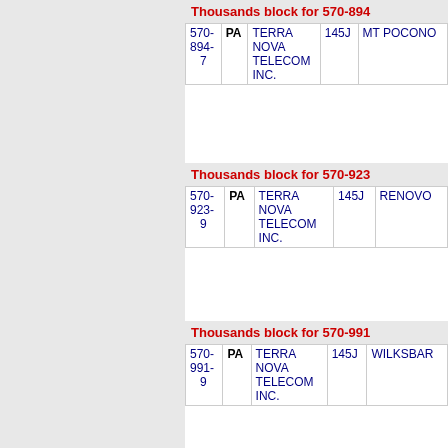Thousands block for 570-894
| Number | State | Carrier | Code | City |
| --- | --- | --- | --- | --- |
| 570-894-7 | PA | TERRA NOVA TELECOM INC. | 145J | MT POCONO |
Thousands block for 570-923
| Number | State | Carrier | Code | City |
| --- | --- | --- | --- | --- |
| 570-923-9 | PA | TERRA NOVA TELECOM INC. | 145J | RENOVO |
Thousands block for 570-991
| Number | State | Carrier | Code | City |
| --- | --- | --- | --- | --- |
| 570-991-9 | PA | TERRA NOVA TELECOM INC. | 145J | WILKSBAR |